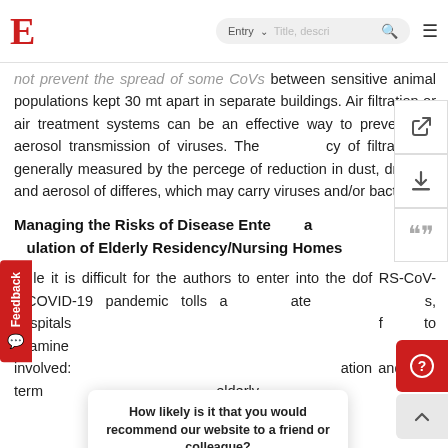E  Entry  [search bar]
not prevent the spread of some CoVs between sensitize animal populations kept 30 mt apart in separate buildings. Air filtration or air treatment systems can be an effective way to prevent the aerosol transmission of viruses. The efficacy of filtration is generally measured by the percentage of reduction in dust, droplets and aerosol of different sizes, which may carry viruses and/or bacteria.
Managing the Risks of Disease Entry and Population of Elderly Residency/Nursing Homes
While it is difficult for the authors to enter into the details of SARS-CoV-2/COVID-19 pandemic tolls and rate deaths, hospitals from different countries have focused to examine previous pandemics to provide paradigms involved: population and long term elderly